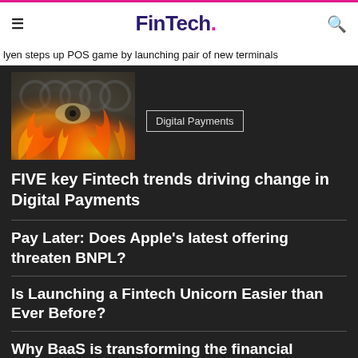FinTech.
lyen steps up POS game by launching pair of new terminals
[Figure (photo): Dramatic image of a dollar bill eye with fire and chains background]
Digital Payments
FIVE key Fintech trends driving change in Digital Payments
Pay Later: Does Apple's latest offering threaten BNPL?
Is Launching a Fintech Unicorn Easier than Ever Before?
Why BaaS is transforming the financial